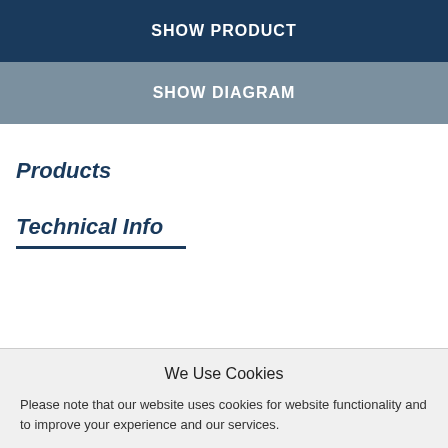SHOW PRODUCT
SHOW DIAGRAM
Products
Technical Info
We Use Cookies
Please note that our website uses cookies for website functionality and to improve your experience and our services.